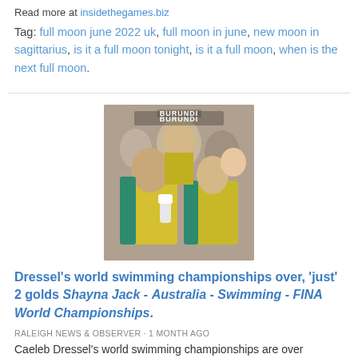Read more at insidethegames.biz
Tag: full moon june 2022 uk, full moon in june, new moon in sagittarius, is it a full moon tonight, is it a full moon, when is the next full moon.
[Figure (photo): Group of athletes in yellow and teal Australian team uniforms, celebrating or cheering, with 'BURUNDI' text visible in the background.]
Dressel's world swimming championships over, 'just' 2 golds Shayna Jack - Australia - Swimming - FINA World Championships.
RALEIGH NEWS & OBSERVER · 1 MONTH AGO
Caeleb Dressel's world swimming championships are over